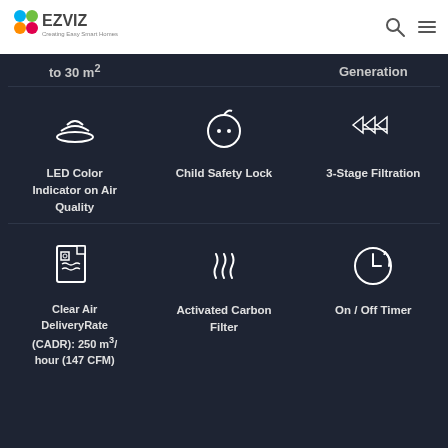EZVIZ - Creating Easy Smart Homes
to 30 m²
Generation
[Figure (illustration): LED air quality indicator icon (three arc lines forming a downward dish shape)]
LED Color Indicator on Air Quality
[Figure (illustration): Child safety lock icon (baby face in circle)]
Child Safety Lock
[Figure (illustration): 3-stage filtration icon (three layered diamond/filter shapes)]
3-Stage Filtration
[Figure (illustration): Clear air delivery rate icon (document with wavy lines)]
Clear Air DeliveryRate (CADR): 250 m³/hour (147 CFM)
[Figure (illustration): Activated carbon filter icon (three wavy steam/heat lines)]
Activated Carbon Filter
[Figure (illustration): On/Off Timer icon (clock with arrow)]
On / Off Timer